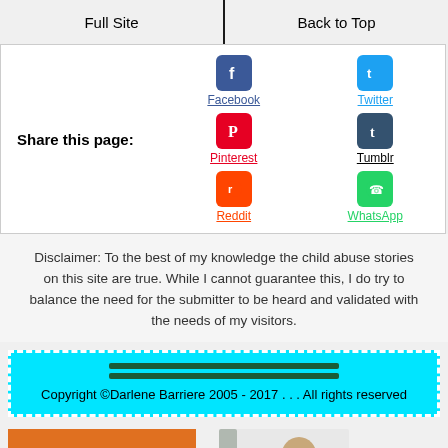Full Site | Back to Top
[Figure (infographic): Share this page section with social media icons: Facebook, Twitter, Pinterest, Tumblr, Reddit, WhatsApp]
Disclaimer: To the best of my knowledge the child abuse stories on this site are true. While I cannot guarantee this, I do try to balance the need for the submitter to be heard and validated with the needs of my visitors.
Copyright ©Darlene Barriere 2005 - 2017 . . . All rights reserved
[Figure (infographic): Newsletter Signup orange button and a book cover image (Victim to Victory)]